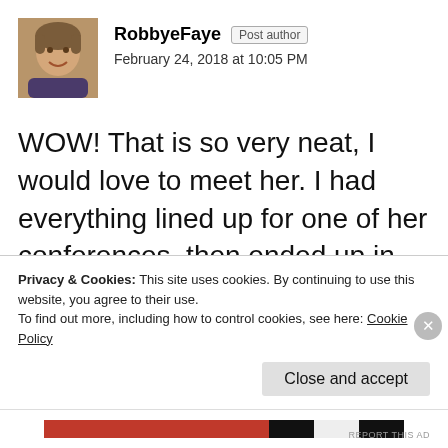[Figure (photo): Profile photo of RobbyeFaye, a woman with short hair, smiling]
RobbyeFaye Post author
February 24, 2018 at 10:05 PM
WOW! That is so very neat, I would love to meet her. I had everything lined up for one of her conferences, then ended up in the hospital for over a month!!
I can imagine she knows a lot. That's great your daughter uses Kathy's info for her
Privacy & Cookies: This site uses cookies. By continuing to use this website, you agree to their use.
To find out more, including how to control cookies, see here: Cookie Policy
Close and accept